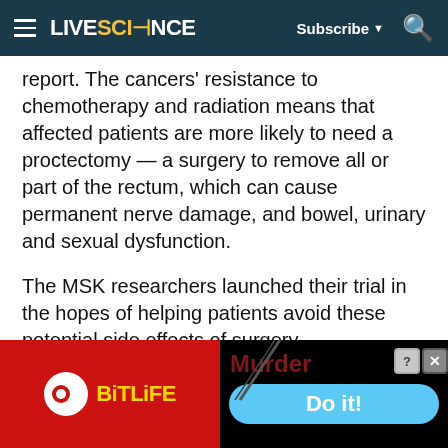LIVESCIENCE — Subscribe
report. The cancers' resistance to chemotherapy and radiation means that affected patients are more likely to need a proctectomy — a surgery to remove all or part of the rectum, which can cause permanent nerve damage, and bowel, urinary and sexual dysfunction.
The MSK researchers launched their trial in the hopes of helping patients avoid these potential side effects of surgery.
They suspected that dostarlimab might help shrink or eliminate patients' tumors based on previous trials with others of the ...
[Figure (other): BitLife mobile game advertisement banner with red background, BitLife logo on left, and 'Murder Do it!' text with blue button on right]